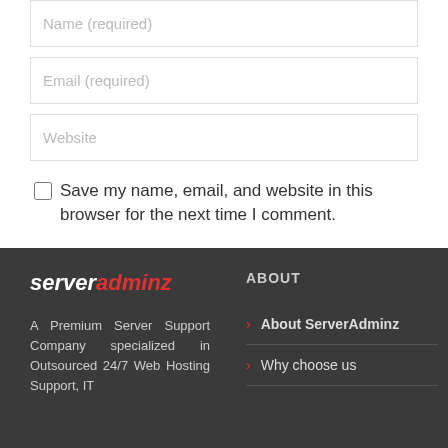Name (required)
Email (required)
Website
Save my name, email, and website in this browser for the next time I comment.
POST COMMENT
[Figure (logo): ServerAdminz logo in white and red italic text]
ABOUT
A Premium Server Support Company specialized in Outsourced 24/7 Web Hosting Support, IT
About ServerAdminz
Why choose us